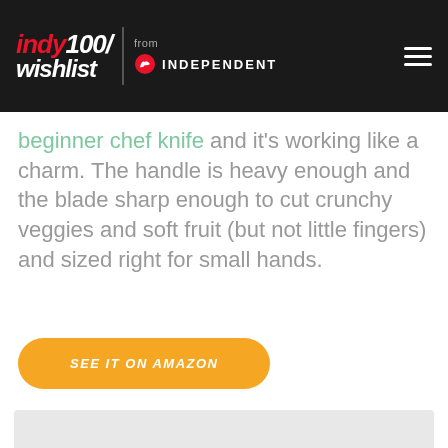indy100/wishlist from INDEPENDENT
beginner chef knife and it's working like a charm. The handle is heavy enough and the blade sharp enough to cut crunchy veggies and soft fruit (but not little fingers) and sized right for small hands.
SEE IT ON AMAZON
[Figure (photo): Light grey image placeholder at bottom of page]